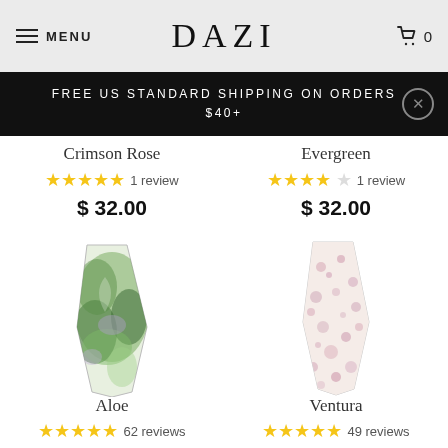MENU  DAZI  0
FREE US STANDARD SHIPPING ON ORDERS $40+
Crimson Rose
5 stars 1 review
$ 32.00
Evergreen
3.5 stars 1 review
$ 32.00
[Figure (photo): Green tropical floral patterned necktie called Aloe]
[Figure (photo): Pink floral patterned necktie called Ventura]
Aloe
5 stars 62 reviews
Ventura
5 stars 49 reviews